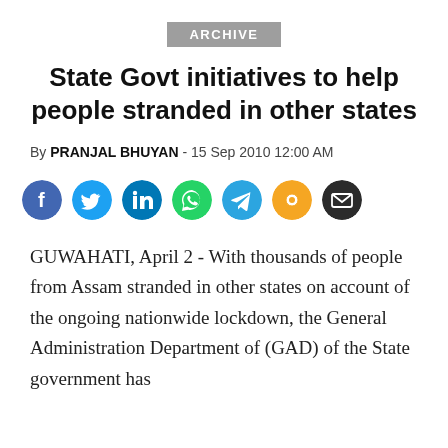ARCHIVE
State Govt initiatives to help people stranded in other states
By PRANJAL BHUYAN - 15 Sep 2010 12:00 AM
[Figure (infographic): Social media share icons: Facebook, Twitter, LinkedIn, WhatsApp, Telegram, ShareChat (gold), Email]
GUWAHATI, April 2 - With thousands of people from Assam stranded in other states on account of the ongoing nationwide lockdown, the General Administration Department of (GAD) of the State government has